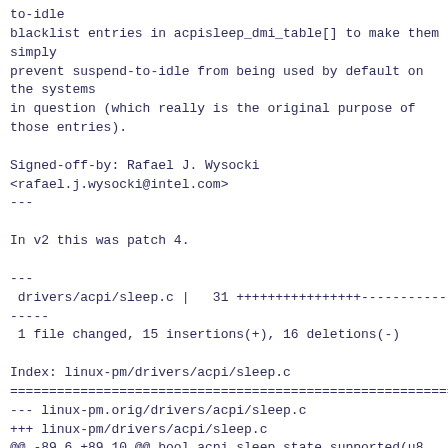to-idle
blacklist entries in acpisleep_dmi_table[] to make them simply
prevent suspend-to-idle from being used by default on the systems
in question (which really is the original purpose of those entries).

Signed-off-by: Rafael J. Wysocki
<rafael.j.wysocki@intel.com>
---

In v2 this was patch 4.

---
 drivers/acpi/sleep.c |   31 ++++++++++++++++-----------
-----
 1 file changed, 15 insertions(+), 16 deletions(-)

Index: linux-pm/drivers/acpi/sleep.c
============================================================
--- linux-pm.orig/drivers/acpi/sleep.c
+++ linux-pm/drivers/acpi/sleep.c
@@ -89,6 +89,10 @@ bool acpi_sleep_state_supported(u8 sleep
 }

 #ifdef CONFIG_ACPI_SLEEP
+static bool sleep_no_lps0 __read_mostly;
+module_param(sleep_no_lps0, bool, 0644);